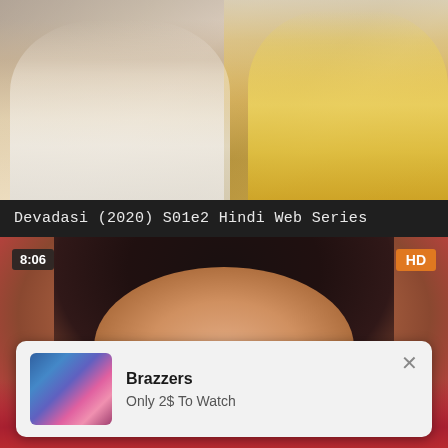[Figure (screenshot): Video thumbnail showing two people sitting on a bed with rose petal pattern bedsheet]
Devadasi (2020) S01e2 Hindi Web Series
[Figure (screenshot): Video thumbnail of a woman with dark hair, close-up face shot, with 8:06 time badge and HD badge. Contains a popup notification from Brazzers saying 'Only 2$ To Watch']